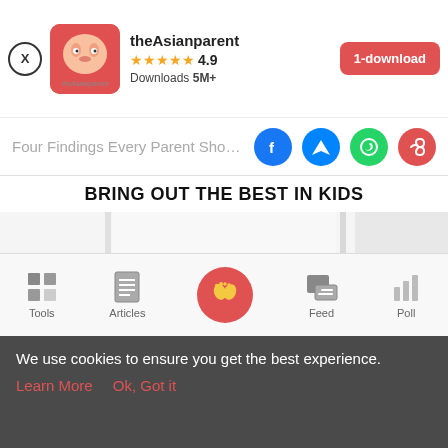[Figure (screenshot): App banner for theAsianparent with close button, app icon, name, 4.9 star rating, 5M+ downloads, and red download button]
Four Findings Every Parent Should K
BRING OUT THE BEST IN KIDS
[Figure (photo): Two children looking out a large window, heads barely visible above the windowsill]
[Figure (screenshot): Bottom navigation bar with Tools, Articles, home (baby feet icon), Feed, and Poll]
We use cookies to ensure you get the best experience. Learn More  Ok, Got it